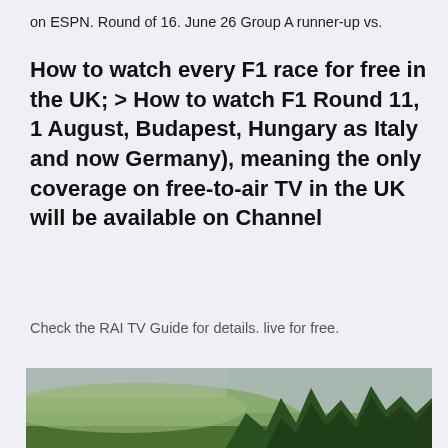on ESPN. Round of 16. June 26 Group A runner-up vs.
How to watch every F1 race for free in the UK; > How to watch F1 Round 11, 1 August, Budapest, Hungary as Italy and now Germany), meaning the only coverage on free-to-air TV in the UK will be available on Channel
Check the RAI TV Guide for details. live for free.
[Figure (photo): Outdoor landscape photo showing green shrubs and foliage with a pale sky in the background.]